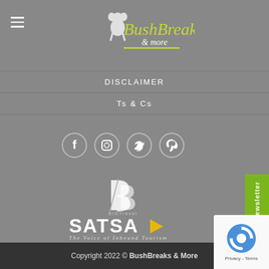[Figure (logo): BushBreaks & More logo with koala mascot and green cursive text on grey background]
DISCLAIMER
Ts & Cs
[Figure (infographic): Social media icons: Facebook, Instagram, Twitter, Pinterest in white circle outlines]
[Figure (logo): BID Travel logo in white]
[Figure (logo): SATSA - The Voice of Inbound Tourism logo in white with yellow arrow]
[Figure (other): Newsletter vertical tab in green on right side]
Copyright 2022 © BushBreaks & More
[Figure (other): Google reCAPTCHA badge]